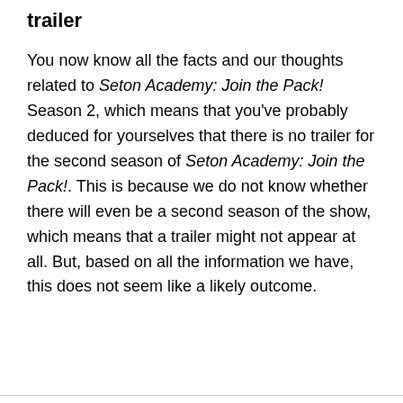trailer
You now know all the facts and our thoughts related to Seton Academy: Join the Pack! Season 2, which means that you've probably deduced for yourselves that there is no trailer for the second season of Seton Academy: Join the Pack!. This is because we do not know whether there will even be a second season of the show, which means that a trailer might not appear at all. But, based on all the information we have, this does not seem like a likely outcome.